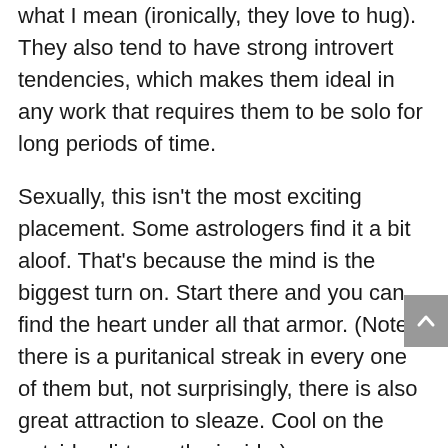what I mean (ironically, they love to hug). They also tend to have strong introvert tendencies, which makes them ideal in any work that requires them to be solo for long periods of time.
Sexually, this isn’t the most exciting placement. Some astrologers find it a bit aloof. That’s because the mind is the biggest turn on. Start there and you can find the heart under all that armor. (Note: there is a puritanical streak in every one of them but, not surprisingly, there is also great attraction to sleaze. Cool on the outside, dirty on the inside.)
Women with the Mars in Virgo adore fellow workaholics. They deplore laziness. They also like their partners to be clean. Wash up for ‘em and